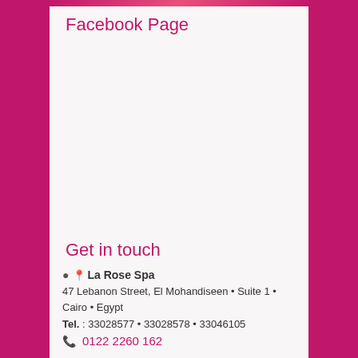[Figure (photo): Top decorative image strip with pink/rose tones]
Facebook Page
Get in touch
La Rose Spa
47 Lebanon Street, El Mohandiseen • Suite 1 • Cairo • Egypt
Tel. : 33028577 • 33028578 • 33046105
0122 2260 162